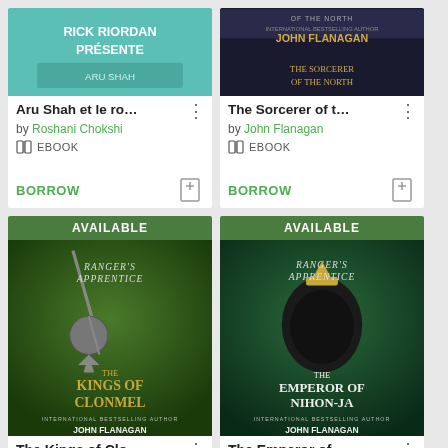[Figure (screenshot): Book card: Aru Shah et le ro... by Roshani Chokshi, EBOOK, BORROW button. Cover shows Rick Riordan Présente branding with teal background.]
[Figure (screenshot): Book card: The Sorcerer of t... by John Flanagan, EBOOK, BORROW button. Cover shows Of the North with dark fantasy imagery.]
[Figure (screenshot): Book card: The Kings of Clo... AVAILABLE banner, Ranger's Apprentice The Kings of Clonmel cover by John Flanagan, green dark fantasy art.]
[Figure (screenshot): Book card: The Emperor of... AVAILABLE banner, Ranger's Apprentice The Emperor of Nihon-Ja cover by John Flanagan, green dark fantasy art with samurai.]